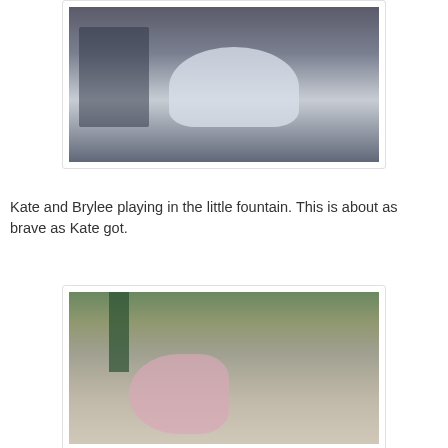[Figure (photo): Children playing in a small water fountain, viewed from above. Water splashing, dark basin visible.]
Kate and Brylee playing in the little fountain. This is about as brave as Kate got.
[Figure (photo): Two young girls in pink swimsuits sitting on pavement at an outdoor splash pad or playground area.]